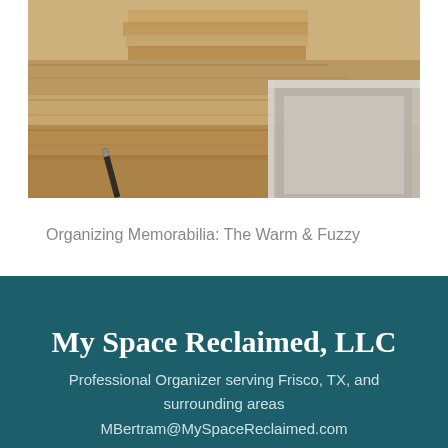[Figure (photo): Close-up blurry photo of stacked wooden books or planks and what appears to be a metal/silver picture frame or box, with a pen or pencil in the foreground on a neutral surface.]
Organizing Memorabilia: The Warm & Fuzzy
My Space Reclaimed, LLC
Professional Organizer serving Frisco, TX, and surrounding areas
MBertram@MySpaceReclaimed.com